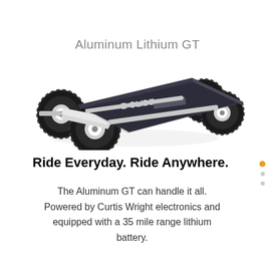[Figure (photo): Photo of an electric skateboard called 'Aluminum Lithium GT' with large off-road tires, aluminum frame, and dark deck with 'E-GLIDE' branding, viewed from a three-quarter angle against a white background.]
Ride Everyday. Ride Anywhere.
The Aluminum GT can handle it all. Powered by Curtis Wright electronics and equipped with a 35 mile range lithium battery.